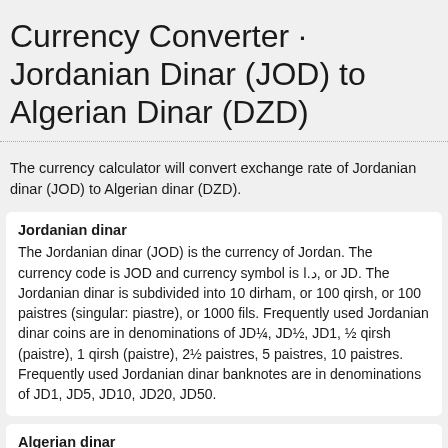Currency Converter · Jordanian Dinar (JOD) to Algerian Dinar (DZD)
The currency calculator will convert exchange rate of Jordanian dinar (JOD) to Algerian dinar (DZD).
Jordanian dinar
The Jordanian dinar (JOD) is the currency of Jordan. The currency code is JOD and currency symbol is د.ا, or JD. The Jordanian dinar is subdivided into 10 dirham, or 100 qirsh, or 100 paistres (singular: piastre), or 1000 fils. Frequently used Jordanian dinar coins are in denominations of JD¼, JD½, JD1, ½ qirsh (paistre), 1 qirsh (paistre), 2½ paistres, 5 paistres, 10 paistres. Frequently used Jordanian dinar banknotes are in denominations of JD1, JD5, JD10, JD20, JD50.
Algerian dinar
The Algerian dinar (DZD) is the currency of Algeria. The currency code